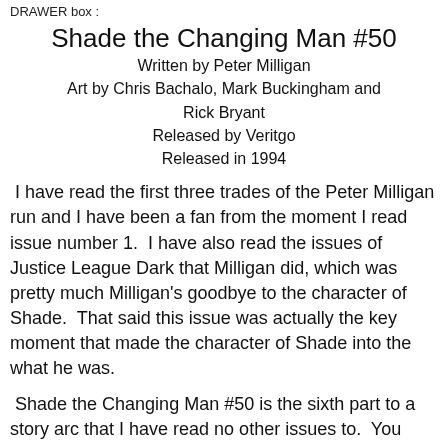DRAWER box :
Shade the Changing Man #50
Written by Peter Milligan
Art by Chris Bachalo, Mark Buckingham and Rick Bryant
Released by Veritgo
Released in 1994
I have read the first three trades of the Peter Milligan run and I have been a fan from the moment I read issue number 1.  I have also read the issues of Justice League Dark that Milligan did, which was pretty much Milligan's goodbye to the character of Shade.  That said this issue was actually the key moment that made the character of Shade into the what he was.
Shade the Changing Man #50 is the sixth part to a story arc that I have read no other issues to.  You